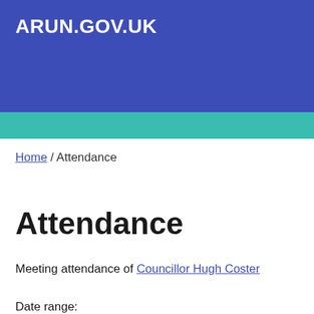ARUN.GOV.UK
Home / Attendance
Attendance
Meeting attendance of Councillor Hugh Coster
Date range: